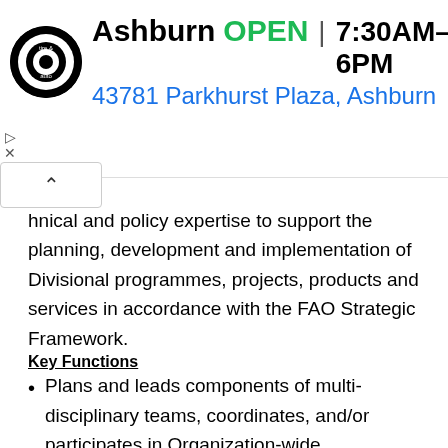[Figure (screenshot): Advertisement banner for Virginia Tire & Auto, Ashburn location. Shows logo, business name 'Ashburn', status 'OPEN', hours '7:30AM–6PM', address '43781 Parkhurst Plaza, Ashburn', and a navigation/directions icon. Ad controls (play and close) and a collapse button with caret are also visible.]
hnical and policy expertise to support the planning, development and implementation of Divisional programmes, projects, products and services in accordance with the FAO Strategic Framework.
Key Functions
Plans and leads components of multi-disciplinary teams, coordinates, and/or participates in Organization-wide committees, and provides technical expertise to international committees and working groups;